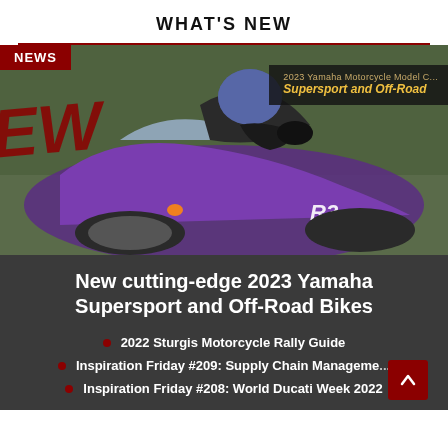WHAT'S NEW
[Figure (photo): Purple Yamaha R3 supersport motorcycle with rider in black leathers and helmet, on track. Red 'NEWS' badge top left. Dark overlay top right showing '2023 Yamaha Motorcycle Model C... Supersport and Off-Road' text in gold/italic. Red italic 'EW' watermark text on left side.]
New cutting-edge 2023 Yamaha Supersport and Off-Road Bikes
2022 Sturgis Motorcycle Rally Guide
Inspiration Friday #209: Supply Chain Management
Inspiration Friday #208: World Ducati Week 2022